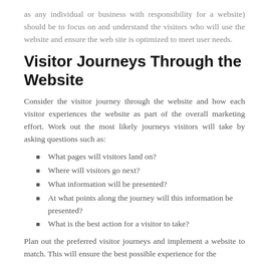as any individual or business with responsibility for a website) should be to focus on and understand the visitors who will use the website and ensure the web site is optimized to meet user needs.
Visitor Journeys Through the Website
Consider the visitor journey through the website and how each visitor experiences the website as part of the overall marketing effort. Work out the most likely journeys visitors will take by asking questions such as:
What pages will visitors land on?
Where will visitors go next?
What information will be presented?
At what points along the journey will this information be presented?
What is the best action for a visitor to take?
Plan out the preferred visitor journeys and implement a website to match. This will ensure the best possible experience for the